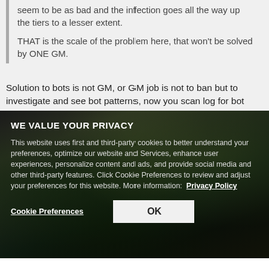seem to be as bad and the infection goes all the way up the tiers to a lesser extent.
THAT is the scale of the problem here, that won't be solved by ONE GM.
Solution to bots is not GM, or GM job is not to ban but to investigate and see bot patterns, now you scan log for bot
WE VALUE YOUR PRIVACY
This website uses first and third-party cookies to better understand your preferences, optimize our website and Services, enhance user experiences, personalize content and ads, and provide social media and other third-party features. Click Cookie Preferences to review and adjust your preferences for this website. More information: Privacy Policy
Cookie Preferences
OK